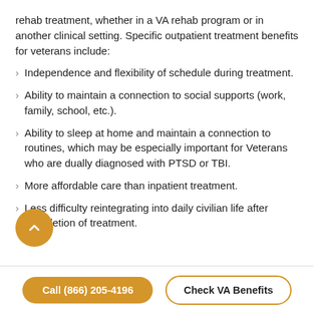rehab treatment, whether in a VA rehab program or in another clinical setting. Specific outpatient treatment benefits for veterans include:
Independence and flexibility of schedule during treatment.
Ability to maintain a connection to social supports (work, family, school, etc.).
Ability to sleep at home and maintain a connection to routines, which may be especially important for Veterans who are dually diagnosed with PTSD or TBI.
More affordable care than inpatient treatment.
Less difficulty reintegrating into daily civilian life after completion of treatment.